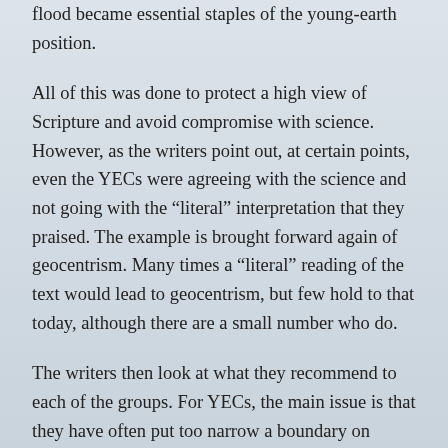flood became essential staples of the young-earth position.
All of this was done to protect a high view of Scripture and avoid compromise with science. However, as the writers point out, at certain points, even the YECs were agreeing with the science and not going with the “literal” interpretation that they praised. The example is brought forward again of geocentrism. Many times a “literal” reading of the text would lead to geocentrism, but few hold to that today, although there are a small number who do.
The writers then look at what they recommend to each of the groups. For YECs, the main issue is that they have often put too narrow a boundary on inerrancy and Christianity and looked at others as compromisers and claimed to know the intentions of their heart. Someone can believe the Earth is old and/or in evolution without being a God-hater or a compromiser or something of that sort. I have seen the YEC community often times hold to a dogmatism that practically